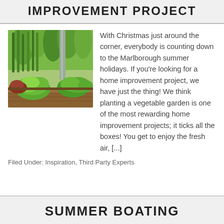IMPROVEMENT PROJECT
[Figure (photo): Photograph of a vegetable garden with green lettuce and onion plants growing in a raised wooden garden bed]
With Christmas just around the corner, everybody is counting down to the Marlborough summer holidays. If you're looking for a home improvement project, we have just the thing! We think planting a vegetable garden is one of the most rewarding home improvement projects; it ticks all the boxes! You get to enjoy the fresh air, [...]
Filed Under: Inspiration, Third Party Experts
SUMMER BOATING